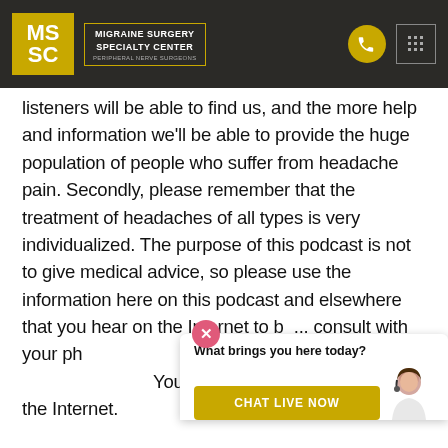MSSC | MIGRAINE SURGERY SPECIALTY CENTER
listeners will be able to find us, and the more help and information we'll be able to provide the huge population of people who suffer from headache pain. Secondly, please remember that the treatment of headaches of all types is very individualized. The purpose of this podcast is not to give medical advice, so please use the information here on this podcast and elsewhere that you hear on the Internet to be... consult with your ph... information that yo... YouTube, or read anywhere on the Internet.
[Figure (other): Chat live now popup overlay with close button, question 'What brings you here today?' and yellow CHAT LIVE NOW button with customer service avatar]